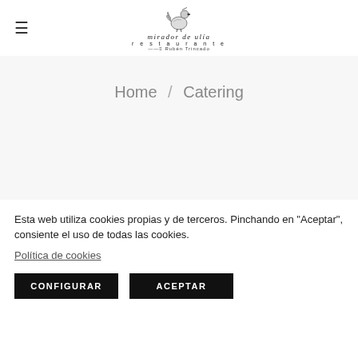[Figure (logo): Mirador de Ulía Restaurante logo with rooster illustration and text]
Home / Catering
[Figure (photo): Partial image strip showing a blurred table setting or catering scene]
Esta web utiliza cookies propias y de terceros. Pinchando en "Aceptar", consiente el uso de todas las cookies.
Política de cookies
CONFIGURAR
ACEPTAR